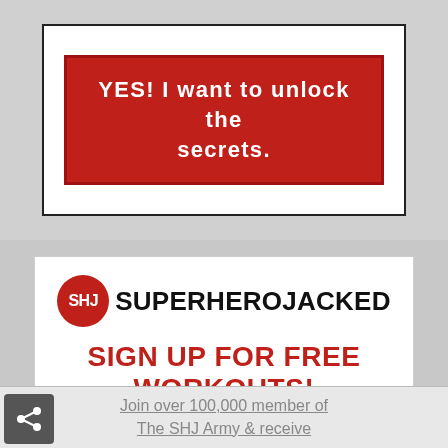[Figure (screenshot): Red button with white bold text reading YES! I want to unlock the secrets., inside a bordered white box on a gray background]
[Figure (logo): SuperHeroJacked logo: red circle with SHU text followed by SUPERHEROJACKED in bold black uppercase letters]
SIGN UP FOR FREE WORKOUTS!
Join over 100,000 member of The SHJ Army & receive...